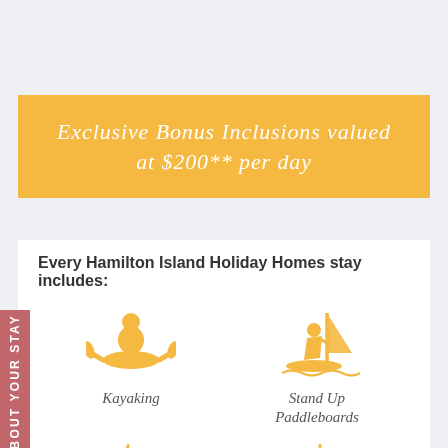Exclusive Bonus Inclusions valued at $200** per day
Every Hamilton Island Holiday Homes stay includes:
[Figure (infographic): Four activity icons in a 2x2 grid: Kayaking (person in kayak), Stand Up Paddleboards (person on paddleboard with sail), Catamarans (sailboat), Windsurfing (person windsurfing). All icons in golden/amber color.]
ABOUT YOUR STAY